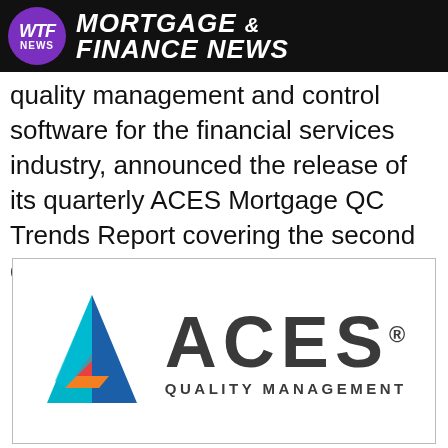WTF NEWS MORTGAGE & FINANCE NEWS
quality management and control software for the financial services industry, announced the release of its quarterly ACES Mortgage QC Trends Report covering the second quarter (Q2) of 2021.
[Figure (logo): ACES Quality Management logo with a triangular arrow icon in blue, teal, orange, and red, and the text 'ACES' in large bold dark gray letters with a registered trademark symbol, and 'QUALITY MANAGEMENT' in smaller bold dark gray letters below.]